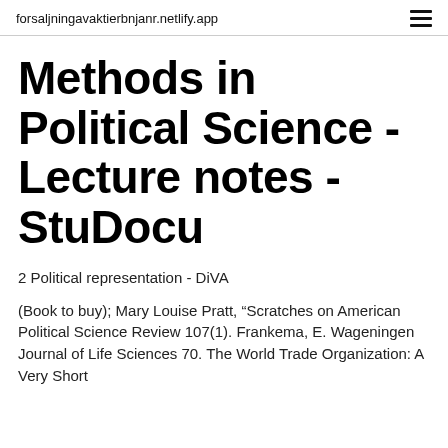forsaljningavaktierbnjanr.netlify.app
Methods in Political Science - Lecture notes - StuDocu
2 Political representation - DiVA
(Book to buy); Mary Louise Pratt, “Scratches on American Political Science Review 107(1). Frankema, E. Wageningen Journal of Life Sciences 70. The World Trade Organization: A Very Short